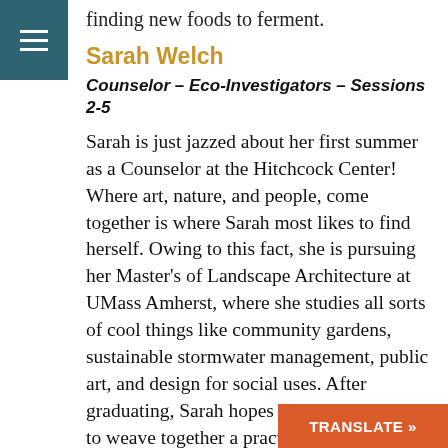finding new foods to ferment.
Sarah Welch
Counselor – Eco-Investigators – Sessions 2-5
Sarah is just jazzed about her first summer as a Counselor at the Hitchcock Center! Where art, nature, and people, come together is where Sarah most likes to find herself. Owing to this fact, she is pursuing her Master's of Landscape Architecture at UMass Amherst, where she studies all sorts of cool things like community gardens, sustainable stormwater management, public art, and design for social uses. After graduating, Sarah hopes to use her degree to weave together a practice that includes both design and teaching about the environment. Sarah is a big believer in the power of art to connect people to place, and loves making landscape drawings of the places she visits, hiking and backpacking in New Hampshire, and exploring new [text cut off] the Connecticut River Valley. Sarah [text cut off]